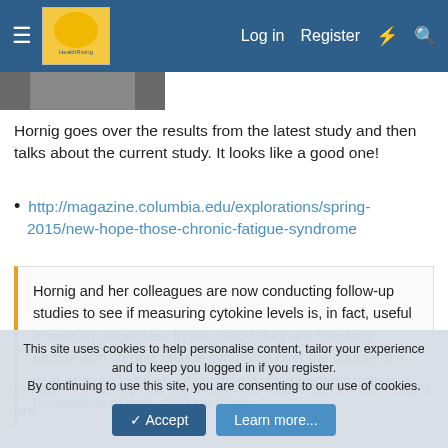Log in  Register
[Figure (photo): Partial photo of a person, cropped at top of content area]
Hornig goes over the results from the latest study and then talks about the current study. It looks like a good one!
http://magazine.columbia.edu/explorations/spring-2015/new-hope-those-chronic-fatigue-syndrome
Hornig and her colleagues are now conducting follow-up studies to see if measuring cytokine levels is, in fact, useful in making diagnoses. In one study, they are following people with chronic fatigue syndrome over the course of a year or more in hopes of spotting distinct patterns in the fluctuations of their cytokine levels.
I imagine that this is a big study and that means if the results are
This site uses cookies to help personalise content, tailor your experience and to keep you logged in if you register.
By continuing to use this site, you are consenting to our use of cookies.